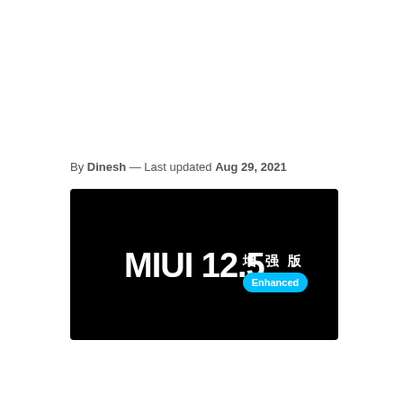By Dinesh — Last updated Aug 29, 2021
[Figure (photo): MIUI 12.5 Enhanced Edition logo on a black background with Chinese characters 增强版 and a cyan 'Enhanced' badge]